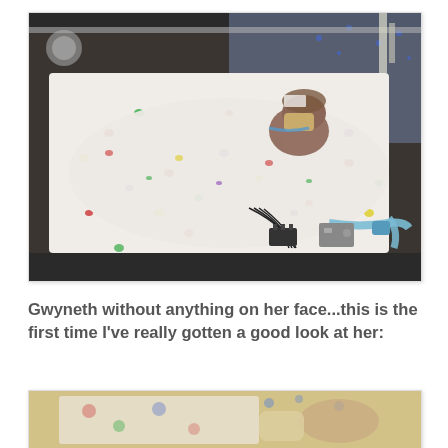[Figure (photo): A premature newborn baby in a NICU incubator, lying on colorful patterned blankets/bedding with small heart and dot designs in red, green, yellow, purple. The baby has medical equipment attached including tubes and wires. Medical monitoring equipment and ventilator tubing visible around the baby.]
Gwyneth without anything on her face...this is the first time I've really gotten a good look at her:
[Figure (photo): Partial view of a premature newborn baby in NICU incubator, showing colorful patterned blankets with hearts and dot designs. The image is cropped showing the lower portion of the scene.]